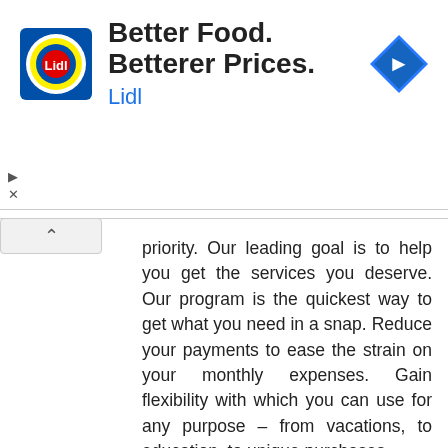[Figure (logo): Lidl advertisement banner with Lidl logo, headline 'Better Food. Betterer Prices.', 'Lidl' subtext in blue, and a blue diamond navigation arrow icon]
priority. Our leading goal is to help you get the services you deserve. Our program is the quickest way to get what you need in a snap. Reduce your payments to ease the strain on your monthly expenses. Gain flexibility with which you can use for any purpose – from vacations, to education, to unique purchases
Are you a business man or woman? Are you in any financial mess or do you need funds to start up your own business? Do you need a loan to start a nice Small Scale and medium business? Do you have a low credit score and you are finding it hard to obtain capital loan from local banks and other financial institutes?.
We offer a wide range of financial services which includes: Personal Loans, Debt consolidation loans, Business Loans, Education Loans, Mortgage Secured Loan, Unsecured loan, Mortgage Loans, Payday off Loans, Student Loans